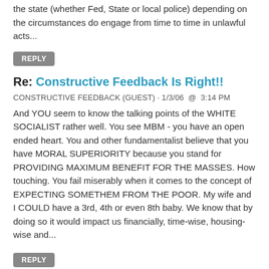the state (whether Fed, State or local police) depending on the circumstances do engage from time to time in unlawful acts...
REPLY
Re: Constructive Feedback Is Right!!
CONSTRUCTIVE FEEDBACK (GUEST) · 1/3/06  @  3:14 PM
And YOU seem to know the talking points of the WHITE SOCIALIST rather well. You see MBM - you have an open ended heart. You and other fundamentalist believe that you have MORAL SUPERIORITY because you stand for PROVIDING MAXIMUM BENEFIT FOR THE MASSES. How touching. You fail miserably when it comes to the concept of EXPECTING SOMETHEM FROM THE POOR. My wife and I COULD have a 3rd, 4th or even 8th baby. We know that by doing so it would impact us financially, time-wise, housing-wise and...
REPLY
Re: My dad's barbershop -- and personal responsibility
NMAGINATE · 1/3/06  @  11:23 PM
One thing to note here and in other situations when CONservatives like to